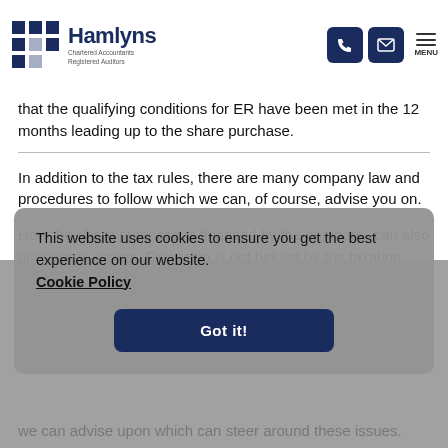Hamlyns Chartered Accountants Registered Auditors — navigation header with phone, email and menu icons
that the qualifying conditions for ER have been met in the 12 months leading up to the share purchase.
In addition to the tax rules, there are many company law and procedures to follow which we can, of course, advise you on.
How the share purchase is financed by the company, can also give rise to issues. Financing is not helped by the taxation … ected' to … s most of … The cash … as loans … nation of … mpany … re ways we can advise upon which can steer around these issues.
This website uses cookies to ensure you get the best experience on our website. Cookie Policy